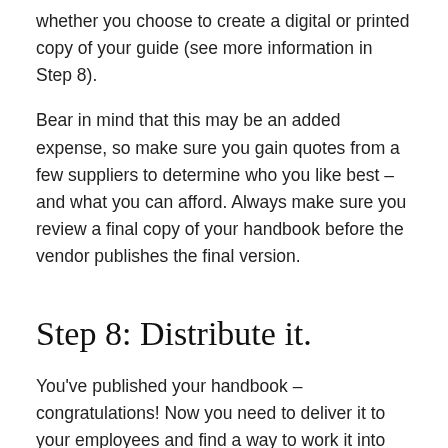whether you choose to create a digital or printed copy of your guide (see more information in Step 8).
Bear in mind that this may be an added expense, so make sure you gain quotes from a few suppliers to determine who you like best – and what you can afford. Always make sure you review a final copy of your handbook before the vendor publishes the final version.
Step 8: Distribute it.
You've published your handbook – congratulations! Now you need to deliver it to your employees and find a way to work it into your new employee